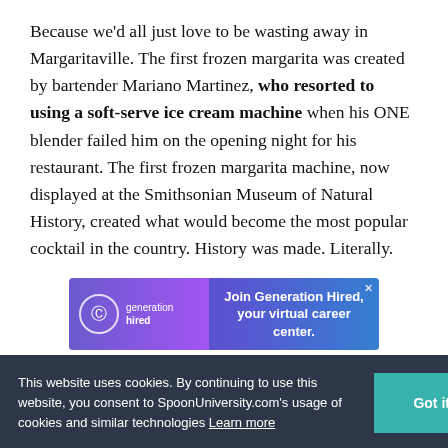Because we'd all just love to be wasting away in Margaritaville. The first frozen margarita was created by bartender Mariano Martinez, who resorted to using a soft-serve ice cream machine when his ONE blender failed him on the opening night for his restaurant. The first frozen margarita machine, now displayed at the Smithsonian Museum of Natural History, created what would become the most popular cocktail in the country. History was made. Literally.
[Figure (other): Advertisement banner for 'Generation Hired' with purple-blue gradient, logo on left and 'Join Generation Hired, your virtual career center.' text on right]
This website uses cookies. By continuing to use this website, you consent to SpoonUniversity.com's usage of cookies and similar technologies Learn more
[Figure (photo): Partial photo of a food dish visible at bottom right of page]